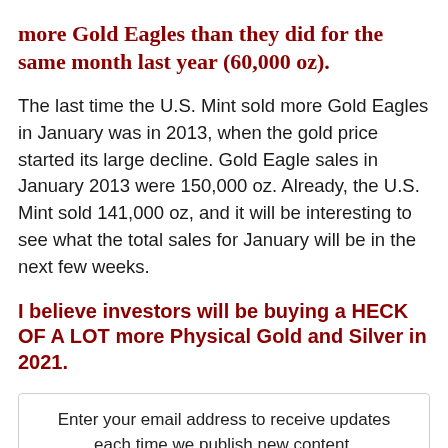more Gold Eagles than they did for the same month last year (60,000 oz).
The last time the U.S. Mint sold more Gold Eagles in January was in 2013, when the gold price started its large decline.  Gold Eagle sales in January 2013 were 150,000 oz.  Already, the U.S. Mint sold 141,000 oz, and it will be interesting to see what the total sales for January will be in the next few weeks.
I believe investors will be buying a HECK OF A LOT more Physical Gold and Silver in 2021.
Enter your email address to receive updates each time we publish new content.
Your email here